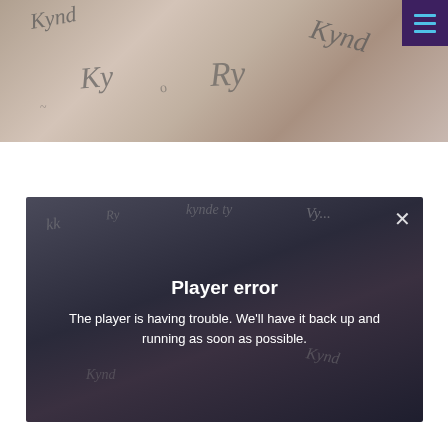[Figure (photo): Close-up photo of handwritten logo sketches on paper, showing various stylized versions of 'Kynd' lettering drawn in pencil. A hand/finger visible at edge.]
[Figure (screenshot): Video player showing a dimmed background of the same sketch photo, with a 'Player error' overlay message and an X close button in the top right corner.]
Player error
The player is having trouble. We'll have it back up and running as soon as possible.